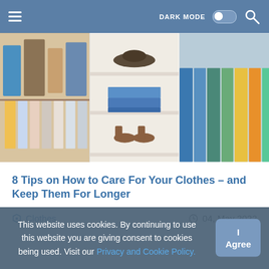≡  DARK MODE  🔍
[Figure (photo): Three-panel image of organized closets: left panel shows hanging shirts on wooden hangers, middle panel shows white shelves with folded clothes and shoes, right panel shows hanging colorful garments including yellow, orange, teal and blue pieces.]
8 Tips on How to Care For Your Clothes – and Keep Them For Longer
🏷 Clothes    🕐 04, May 2022
This website uses cookies. By continuing to use this website you are giving consent to cookies being used. Visit our Privacy and Cookie Policy.